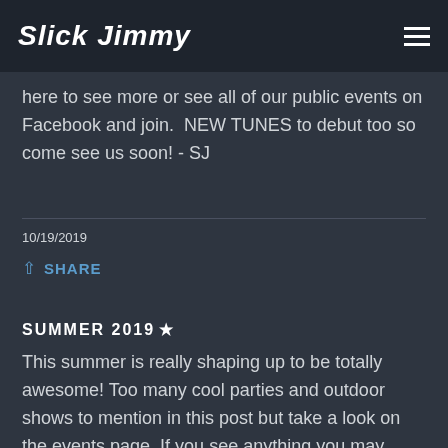Slick Jimmy
here to see more or see all of our public events on Facebook and join.  NEW TUNES to debut too so come see us soon! - SJ
10/19/2019
SHARE
SUMMER 2019 ★
This summer is really shaping up to be totally awesome! Too many cool parties and outdoor shows to mention in this post but take a look on the events page. If you see anything you may want to attend, head over to our facebook EVENTS page and click the event and follow along for reminders. Rememb...